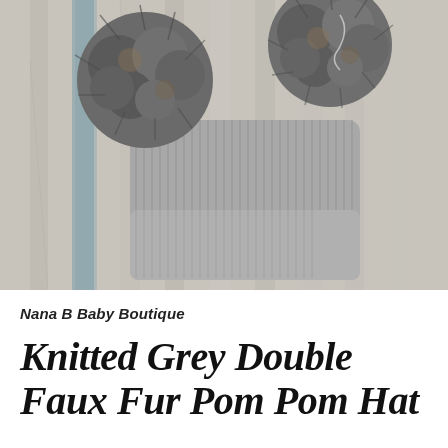[Figure (photo): A grey knitted beanie hat with two large faux fur pom poms on top, laid flat on a rustic wooden plank background. The hat is ribbed and folds at the brim. The pom poms are dark grey/charcoal colored faux fur.]
Nana B Baby Boutique
Knitted Grey Double Faux Fur Pom Pom Hat